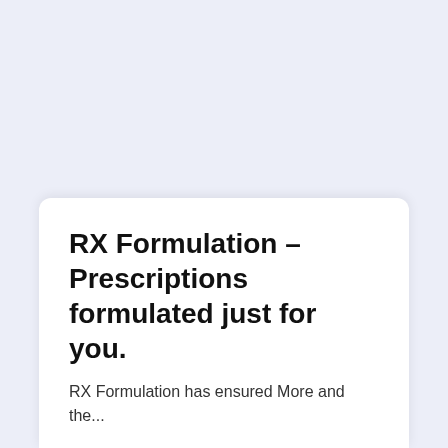RX Formulation – Prescriptions formulated just for you.
RX Formulation has ensured More and the...